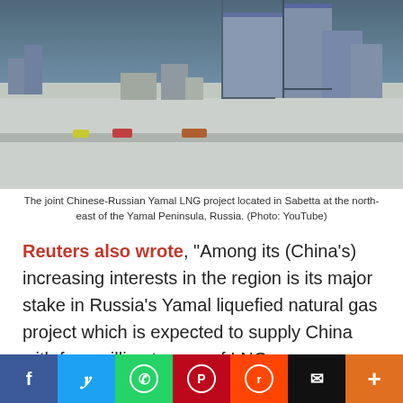[Figure (photo): Aerial view of the joint Chinese-Russian Yamal LNG construction project in Sabetta, Yamal Peninsula, Russia. Shows large industrial buildings under construction in a snowy arctic landscape with trucks on roads.]
The joint Chinese-Russian Yamal LNG project located in Sabetta at the north-east of the Yamal Peninsula, Russia. (Photo: YouTube)
Reuters also wrote, “Among its (China’s) increasing interests in the region is its major stake in Russia’s Yamal liquefied natural gas project which is expected to supply China with four million tonnes of LNG a year, according to the state-run China Daily.”
US Presence in Arctic